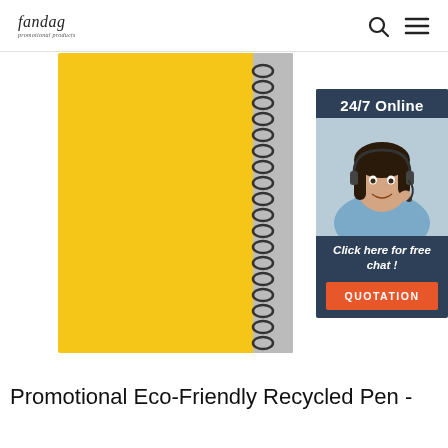Fandag — logo with search and menu icons
[Figure (photo): Yellow spiral-bound notebook product photo with a 24/7 online chat widget overlay showing a customer service representative, 'Click here for free chat!' text, and an orange QUOTATION button]
Promotional Eco-Friendly Recycled Pen -